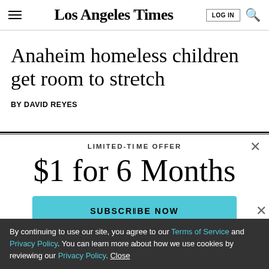Los Angeles Times
Anaheim homeless children get room to stretch
BY DAVID REYES
LIMITED-TIME OFFER
$1 for 6 Months
SUBSCRIBE NOW
By continuing to use our site, you agree to our Terms of Service and Privacy Policy. You can learn more about how we use cookies by reviewing our Privacy Policy. Close